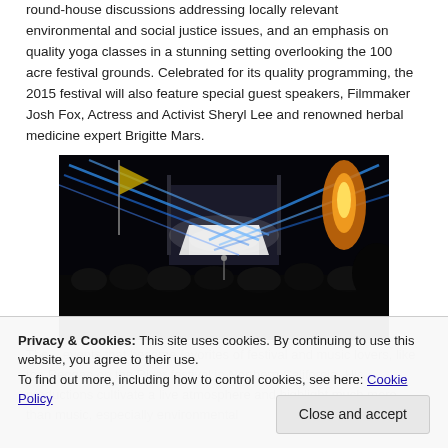round-house discussions addressing locally relevant environmental and social justice issues, and an emphasis on quality yoga classes in a stunning setting overlooking the 100 acre festival grounds. Celebrated for its quality programming, the 2015 festival will also feature special guest speakers, Filmmaker Josh Fox, Actress and Activist Sheryl Lee and renowned herbal medicine expert Brigitte Mars.
[Figure (photo): Night concert scene with blue stage lights and a large crowd]
The... events that become favorites of festival and music lovers, like the Reggae on the River festival in Northern California. His productions cultivate a live atmosphere and highlight much more than music, especially environmental...
Privacy & Cookies: This site uses cookies. By continuing to use this website, you agree to their use. To find out more, including how to control cookies, see here: Cookie Policy